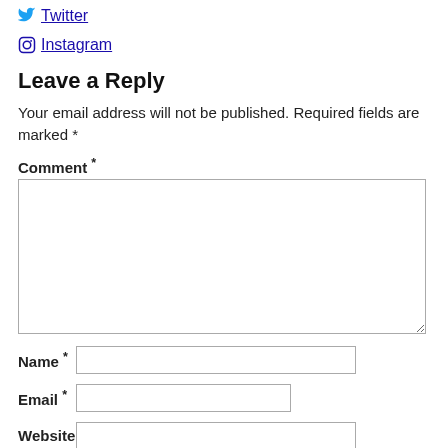Twitter
Instagram
Leave a Reply
Your email address will not be published. Required fields are marked *
Comment *
Name *
Email *
Website